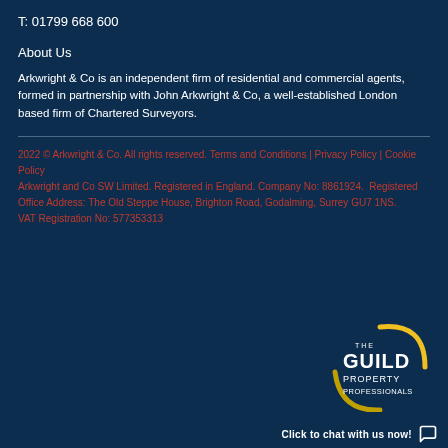T: 01799 668 600
About Us
Arkwright & Co is an independent firm of residential and commercial agents, formed in partnership with John Arkwright & Co, a well-established London based firm of Chartered Surveyors.
2022 © Arkwright & Co. All rights reserved. Terms and Conditions | Privacy Policy | Cookie Policy
Arkwright and Co SW Limited. Registered in England. Company No: 8861924.  Registered Office Address: The Old Steppe House, Brighton Road, Godalming, Surrey GU7 1NS.
VAT Registration No: 577353313
[Figure (logo): The Guild Property Professionals logo with yellow arc graphic]
Click to chat with us now!